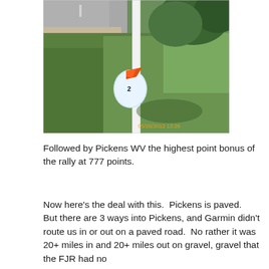[Figure (photo): Outdoor photo showing a sign or marker attached to a white pole on a green lawn, near a road. The sign appears to have colorful markings. A timestamp reads 05/26/2012 13:26 in orange text at the bottom right of the photo.]
Followed by Pickens WV the highest point bonus of the rally at 777 points.
Now here's the deal with this.  Pickens is paved.  But there are 3 ways into Pickens, and Garmin didn't route us in or out on a paved road.  No rather it was 20+ miles in and 20+ miles out on gravel, gravel that the FJR had no